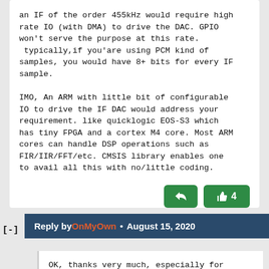an IF of the order 455kHz would require high rate IO (with DMA) to drive the DAC. GPIO won't serve the purpose at this rate.
 typically,if you'are using PCM kind of samples, you would have 8+ bits for every IF sample.

IMO, An ARM with little bit of configurable IO to drive the IF DAC would address your requirement. like quicklogic EOS-S3 which has tiny FPGA and a cortex M4 core. Most ARM cores can handle DSP operations such as FIR/IIR/FFT/etc. CMSIS library enables one to avail all this with no/little coding.
[Figure (other): Reply button (green arrow icon) and Like button (thumbs up icon with count 4)]
Reply by OnMyOwn • August 15, 2020
OK, thanks very much, especially for clearing up the ARM core question. I'll